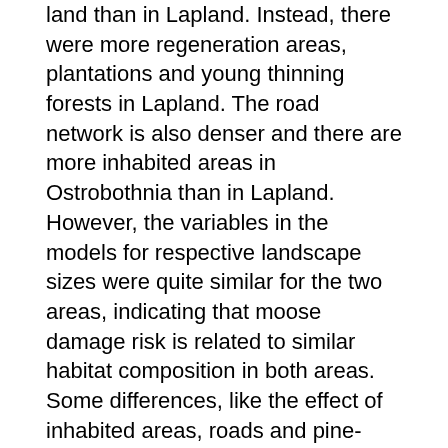land than in Lapland. Instead, there were more regeneration areas, plantations and young thinning forests in Lapland. The road network is also denser and there are more inhabited areas in Ostrobothnia than in Lapland. However, the variables in the models for respective landscape sizes were quite similar for the two areas, indicating that moose damage risk is related to similar habitat composition in both areas. Some differences, like the effect of inhabited areas, roads and pine-dominated thinning forests, still imply that moose damage risk models should include landscape features typical to each region.
4.6 Count models and zero models
There is empirical evidence that the abundance of moose can to some degree be predicted on the basis of predicted occurrence and by partly using the same environmental covariates used in both occurrence and abundance